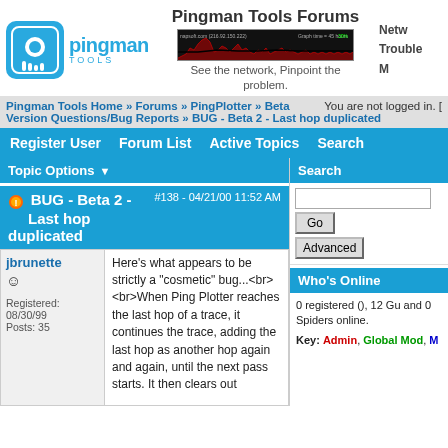Pingman Tools Forums
[Figure (screenshot): Pingman Tools logo with blue icon and text]
[Figure (continuous-plot): Network latency graph chart showing spikes over time]
See the network, Pinpoint the problem.
Netw... Trouble... M...
You are not logged in. [
Pingman Tools Home » Forums » PingPlotter » Beta Version Questions/Bug Reports » BUG - Beta 2 - Last hop duplicated
Register User   Forum List   Active Topics   Search
Topic Options
Search
BUG - Beta 2 - Last hop duplicated
#138 - 04/21/00 11:52 AM
jbrunette
Here's what appears to be strictly a "cosmetic" bug...<br><br>When Ping Plotter reaches the last hop of a trace, it continues the trace, adding the last hop as another hop again and again, until the next pass starts. It then clears out
Registered: 08/30/99
Posts: 35
0 registered (), 12 Gu and 0 Spiders online.
Key: Admin, Global Mod, Mo